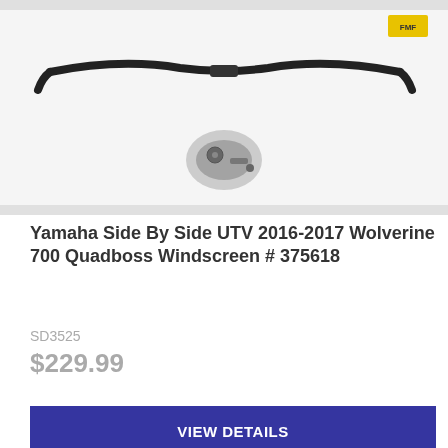[Figure (photo): Product photo of a Yamaha UTV windscreen handlebar with mounting hardware on white background]
Yamaha Side By Side UTV 2016-2017 Wolverine 700 Quadboss Windscreen # 375618
SD3525
$229.99
VIEW DETAILS
[Figure (photo): Product photo of a mechanical spring and disc assembly part on gray background]